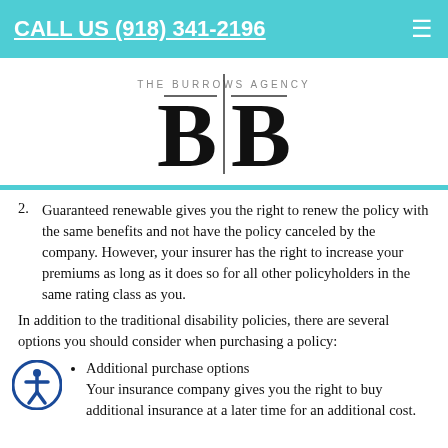CALL US (918) 341-2196
[Figure (logo): The Burrows Agency logo with two large B letters separated by a vertical line and small text THE BURROWS AGENCY above]
2. Guaranteed renewable gives you the right to renew the policy with the same benefits and not have the policy canceled by the company. However, your insurer has the right to increase your premiums as long as it does so for all other policyholders in the same rating class as you.
In addition to the traditional disability policies, there are several options you should consider when purchasing a policy:
Additional purchase options
Your insurance company gives you the right to buy additional insurance at a later time for an additional cost.